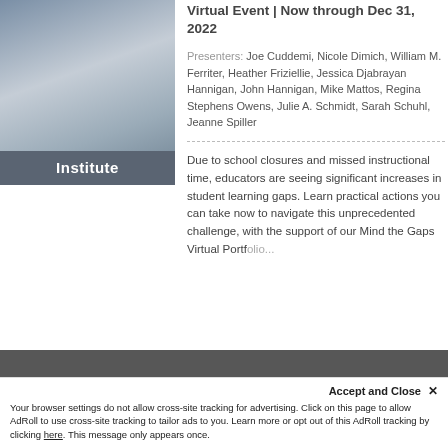[Figure (photo): Person holding a smartphone displaying content, photo cropped at top with grey tones]
Institute
Virtual Event | Now through Dec 31, 2022
Presenters: Joe Cuddemi, Nicole Dimich, William M. Ferriter, Heather Friziellie, Jessica Djabrayan Hannigan, John Hannigan, Mike Mattos, Regina Stephens Owens, Julie A. Schmidt, Sarah Schuhl, Jeanne Spiller
Due to school closures and missed instructional time, educators are seeing significant increases in student learning gaps. Learn practical actions you can take now to navigate this unprecedented challenge, with the support of our Mind the Gaps Virtual Portfolio...
Accept and Close ✕
Your browser settings do not allow cross-site tracking for advertising. Click on this page to allow AdRoll to use cross-site tracking to tailor ads to you. Learn more or opt out of this AdRoll tracking by clicking here. This message only appears once.